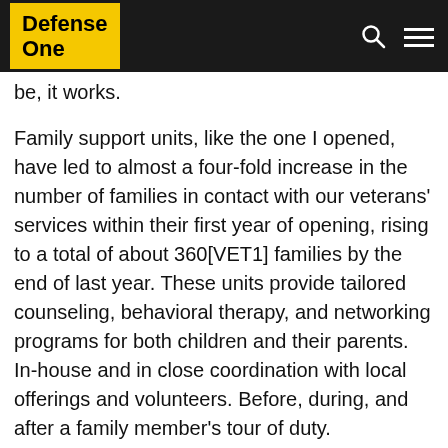Defense One
be, it works.
Family support units, like the one I opened, have led to almost a four-fold increase in the number of families in contact with our veterans' services within their first year of opening, rising to a total of about 360[VET1] families by the end of last year. These units provide tailored counseling, behavioral therapy, and networking programs for both children and their parents. In-house and in close coordination with local offerings and volunteers. Before, during, and after a family member's tour of duty.
Meanwhile, designated mentors support each and every one of our veterans when they take their first, fragile steps out of rehabilitation to the security of their homes and families. Wherever they are and whenever